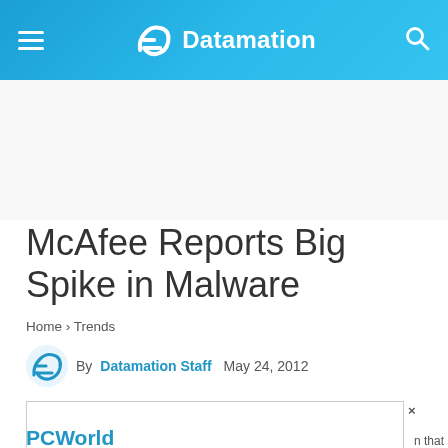Datamation
McAfee Reports Big Spike in Malware
Home › Trends
By Datamation Staff  May 24, 2012
[Figure (other): Advertisement modal overlay box with close button (×), partially visible]
PCWorld